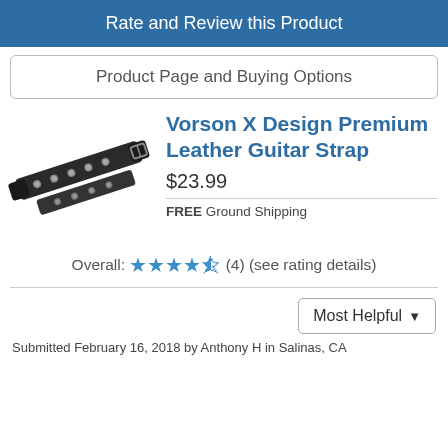Rate and Review this Product
Product Page and Buying Options
[Figure (photo): Photo of a black leather guitar strap with metal studs/rivets, shown folded]
Vorson X Design Premium Leather Guitar Strap
$23.99
FREE Ground Shipping
Overall: ★★★★½ (4) (see rating details)
Most Helpful ▼
Submitted February 16, 2018 by Anthony H in Salinas, CA